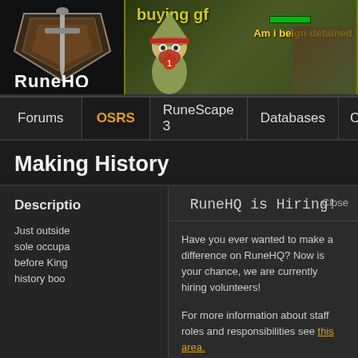[Figure (screenshot): RuneHQ website header with logo on left and a game screenshot banner on right showing a character with 'buying gf' text and 'Am i beign detained' text]
Forums | OSRS | RuneScape 3 | Databases | Calculators | T...
Making History
Description
Just outside ... before King ... history boo...
RuneHQ is Hiring!
Have you ever wanted to make a difference on RuneHQ? Now is your chance, we are currently hiring volunteers!

For more information about staff roles and responsibilities see this area.

Once you are ready (and signed into the forums), you can find open applications on the navigation bar at the top of the forums.
Close